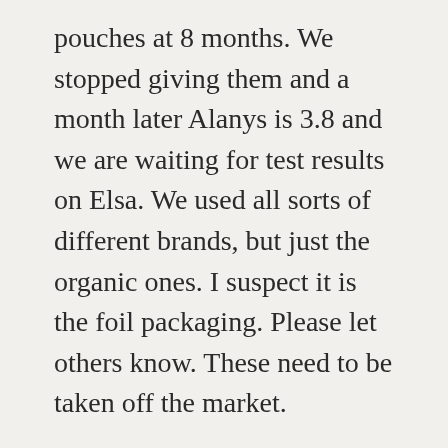pouches at 8 months. We stopped giving them and a month later Alanys is 3.8 and we are waiting for test results on Elsa. We used all sorts of different brands, but just the organic ones. I suspect it is the foil packaging. Please let others know. These need to be taken off the market.
Reply
Amy
April 27, 2016
GoGo Squeez does have USDA Organic